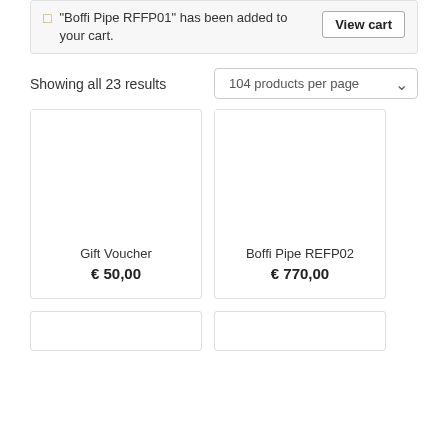"Boffi Pipe RFFP01" has been added to your cart.
View cart
Showing all 23 results
104 products per page
Gift Voucher
€ 50,00
Boffi Pipe REFP02
€ 770,00